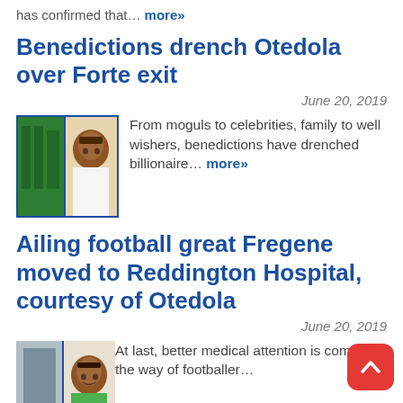has confirmed that… more»
Benedictions drench Otedola over Forte exit
June 20, 2019
[Figure (photo): Thumbnail photo of a man, split-panel image with green background on left and portrait on right]
From moguls to celebrities, family to well wishers, benedictions have drenched billionaire… more»
Ailing football great Fregene moved to Reddington Hospital, courtesy of Otedola
June 20, 2019
[Figure (photo): Thumbnail photo of a man smiling, split-panel image]
At last, better medical attention is coming the way of footballer…